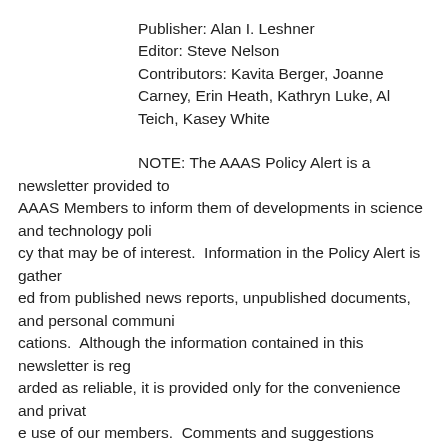Publisher: Alan I. Leshner
Editor: Steve Nelson
Contributors: Kavita Berger, Joanne Carney, Erin Heath, Kathryn Luke, Al Teich, Kasey White
NOTE: The AAAS Policy Alert is a newsletter provided to AAAS Members to inform them of developments in science and technology policy that may be of interest.  Information in the Policy Alert is gathered from published news reports, unpublished documents, and personal communications.  Although the information contained in this newsletter is regarded as reliable, it is provided only for the convenience and private use of our members.  Comments and suggestions regarding the Policy A